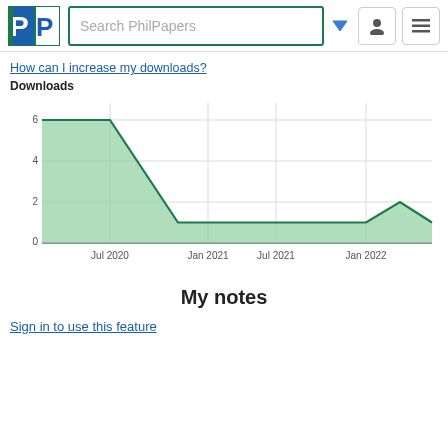[Figure (screenshot): PhilPapers website header with logo, search bar, dropdown arrow, user icon button, and menu button]
How can I increase my downloads?
Downloads
[Figure (area-chart): Downloads]
My notes
Sign in to use this feature